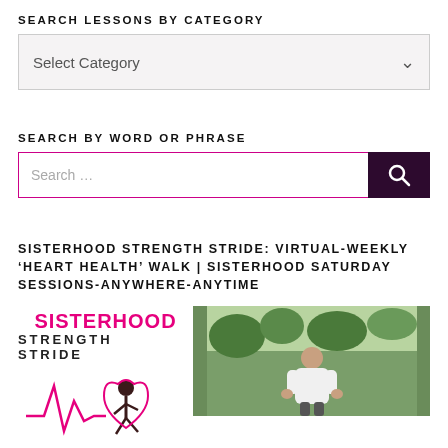SEARCH LESSONS BY CATEGORY
[Figure (screenshot): Dropdown selector with 'Select Category' placeholder and chevron icon]
SEARCH BY WORD OR PHRASE
[Figure (screenshot): Search input field with 'Search...' placeholder and dark purple search button with magnifying glass icon]
SISTERHOOD STRENGTH STRIDE: VIRTUAL-WEEKLY 'HEART HEALTH' WALK | SISTERHOOD SATURDAY SESSIONS-ANYWHERE-ANYTIME
[Figure (logo): Sisterhood Strength Stride logo with pink text and heartbeat/runner graphic, alongside a photo of a woman in a white hoodie outdoors]